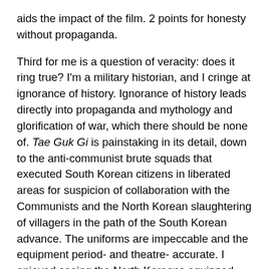aids the impact of the film. 2 points for honesty without propaganda.
Third for me is a question of veracity: does it ring true? I'm a military historian, and I cringe at ignorance of history. Ignorance of history leads directly into propaganda and mythology and glorification of war, which there should be none of. Tae Guk Gi is painstaking in its detail, down to the anti-communist brute squads that executed South Korean citizens in liberated areas for suspicion of collaboration with the Communists and the North Korean slaughtering of villagers in the path of the South Korean advance. The uniforms are impeccable and the equipment period- and theatre- accurate. I enjoyed seeing the North Koreans equipped with the proper USSR 1938-era war surplus, as happened historically, along with the evolving quality of equipment for the ROK forces. 2 points for veracity.
After veracity, I want to see empathy for the other side. Not